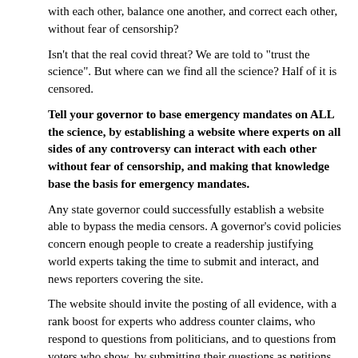with each other, balance one another, and correct each other, without fear of censorship?
Isn't that the real covid threat? We are told to "trust the science". But where can we find all the science? Half of it is censored.
Tell your governor to base emergency mandates on ALL the science, by establishing a website where experts on all sides of any controversy can interact with each other without fear of censorship, and making that knowledge base the basis for emergency mandates.
Any state governor could successfully establish a website able to bypass the media censors. A governor's covid policies concern enough people to create a readership justifying world experts taking the time to submit and interact, and news reporters covering the site.
The website should invite the posting of all evidence, with a rank boost for experts who address counter claims, who respond to questions from politicians, and to questions from voters who show, by submitting their questions as petitions, that their questions interest several voters. Information should be free, and in language understandable to political leaders and